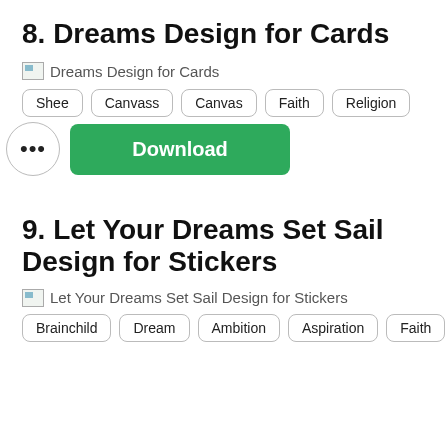8. Dreams Design for Cards
[Figure (illustration): Broken image placeholder with alt text: Dreams Design for Cards]
Shee
Canvass
Canvas
Faith
Religion
... Download
9. Let Your Dreams Set Sail Design for Stickers
[Figure (illustration): Broken image placeholder with alt text: Let Your Dreams Set Sail Design for Stickers]
Brainchild
Dream
Ambition
Aspiration
Faith